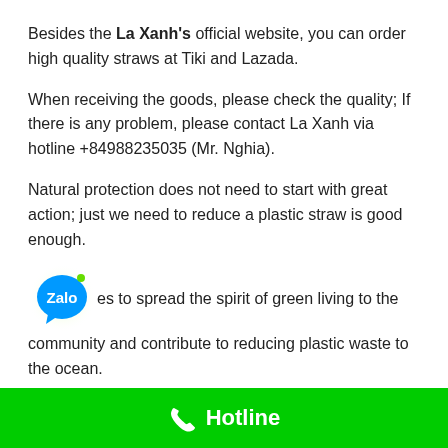Besides the La Xanh's official website, you can order high quality straws at Tiki and Lazada.
When receiving the goods, please check the quality; If there is any problem, please contact La Xanh via hotline +84988235035 (Mr. Nghia).
Natural protection does not need to start with great action; just we need to reduce a plastic straw is good enough.
[Figure (logo): Zalo app logo - blue speech bubble with white Zalo text]
...es to spread the spirit of green living to the community and contribute to reducing plastic waste to the ocean.
A small act of ours but it will have a great influence on the future and the environment in the future.
Hotline